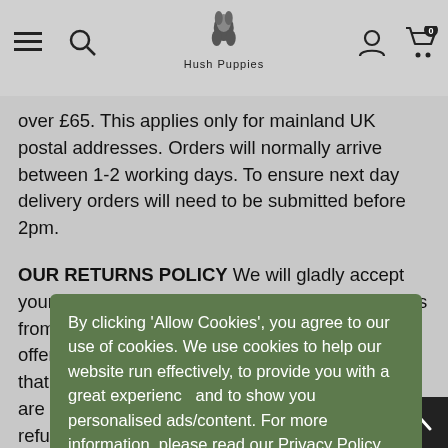Hush Puppies – navigation bar with hamburger menu, search, logo, account, and cart (0 items)
over £65. This applies only for mainland UK postal addresses. Orders will normally arrive between 1-2 working days. To ensure next day delivery orders will need to be submitted before 2pm.
OUR RETURNS POLICY We will gladly accept your return of unworn merchandise within 14 days from receipt of your ord... We do not currently offer free returns on our website for orde... that... which are... refu... is case... Selli... rece... suita... g in place.
By clicking 'Allow Cookies', you agree to our use of cookies. We use cookies to help our website run effectively, to provide you with a great experienc... and to show you personalised ads/content. For more information, please read our Privacy Policy